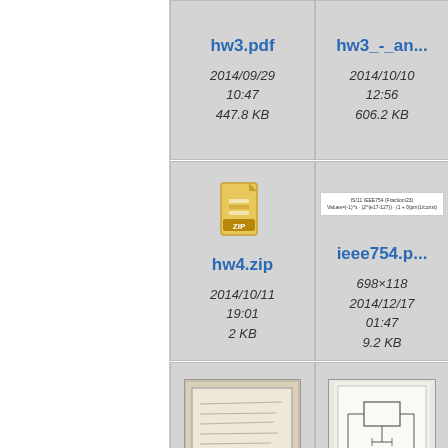[Figure (screenshot): File browser grid view showing hw3.pdf: 2014/09/29 10:47, 447.8 KB]
[Figure (screenshot): File browser grid view showing hw3_-_an...: 2014/10/10 12:56, 606.2 KB]
[Figure (screenshot): File browser grid view showing hw4.zip: 2014/10/11 19:01, 2 KB]
[Figure (screenshot): File browser grid view showing ieee754.p...: 698x118, 2014/12/17 01:47, 9.2 KB]
[Figure (screenshot): File browser grid showing photo of handwritten notes]
[Figure (screenshot): File browser grid showing photo of circuit/diagram sketch]
[Figure (screenshot): Partial right column file browser entries]